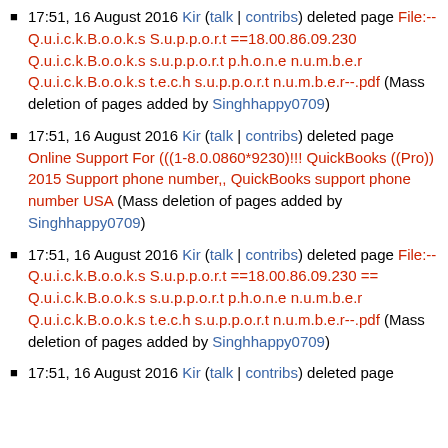17:51, 16 August 2016 Kir (talk | contribs) deleted page File:-- Q.u.i.c.k.B.o.o.k.s S.u.p.p.o.r.t ==18.00.86.09.230 Q.u.i.c.k.B.o.o.k.s s.u.p.p.o.r.t p.h.o.n.e n.u.m.b.e.r Q.u.i.c.k.B.o.o.k.s t.e.c.h s.u.p.p.o.r.t n.u.m.b.e.r--.pdf (Mass deletion of pages added by Singhhappy0709)
17:51, 16 August 2016 Kir (talk | contribs) deleted page Online Support For (((1-8.0.0860*9230)!!! QuickBooks ((Pro)) 2015 Support phone number,, QuickBooks support phone number USA (Mass deletion of pages added by Singhhappy0709)
17:51, 16 August 2016 Kir (talk | contribs) deleted page File:-- Q.u.i.c.k.B.o.o.k.s S.u.p.p.o.r.t ==18.00.86.09.230 == Q.u.i.c.k.B.o.o.k.s s.u.p.p.o.r.t p.h.o.n.e n.u.m.b.e.r Q.u.i.c.k.B.o.o.k.s t.e.c.h s.u.p.p.o.r.t n.u.m.b.e.r--.pdf (Mass deletion of pages added by Singhhappy0709)
17:51, 16 August 2016 Kir (talk | contribs) deleted page